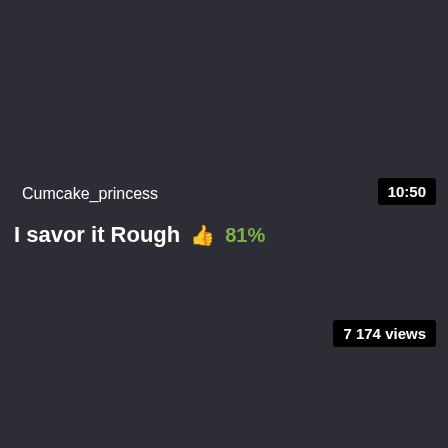Cumcake_princess
10:50
I savor it Rough  👍 81%
7 174 views